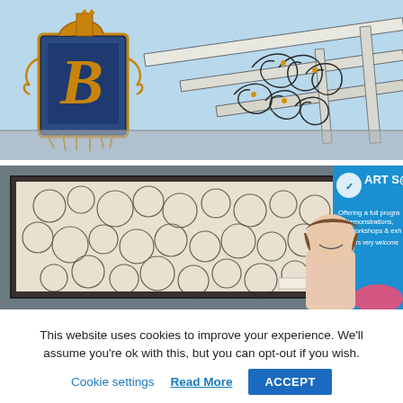[Figure (illustration): A watercolor and ink illustration of ornate architectural details including a decorative lantern/clock with blue and gold motifs on the left and elaborate wrought-iron scrollwork railings on the right, against a light blue sky background.]
[Figure (photo): A photograph of a woman with bangs standing next to a large abstract painting featuring circular/ring patterns in cream and dark tones. Behind her is a blue banner reading 'ART S@c' with text 'Offering a full program of demonstrations, talks, workshops & exh... members very welcome'.]
This website uses cookies to improve your experience. We'll assume you're ok with this, but you can opt-out if you wish.
Cookie settings   Read More   ACCEPT